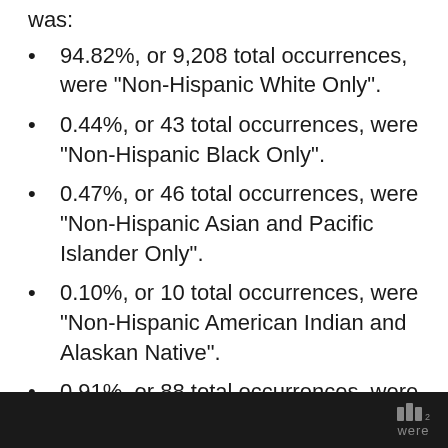was:
94.82%, or 9,208 total occurrences, were "Non-Hispanic White Only".
0.44%, or 43 total occurrences, were "Non-Hispanic Black Only".
0.47%, or 46 total occurrences, were "Non-Hispanic Asian and Pacific Islander Only".
0.10%, or 10 total occurrences, were "Non-Hispanic American Indian and Alaskan Native".
0.91%, or 88 total occurrences, were "Non-Hispanic of Two or More Races".
were